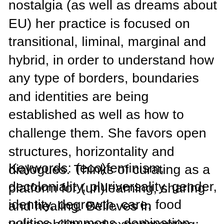nostalgia (as well as dreams about EU) her practice is focused on transitional, liminal, marginal and hybrid, in order to understand how any type of borders, boundaries and identities are being established as well as how to challenge them. She favors open structures, horizontality and dialogues. Thinks of curating as a platform for (un)learning, sharing and healing. Believes in vulnerability and experimenting; the necessity of a transformation and co-construction of the new politics.
Keywords: (eco)feminism, decoloniality, pluriversality, gender, identity, degrowth, care, food politics, commons, domination, exploitation,